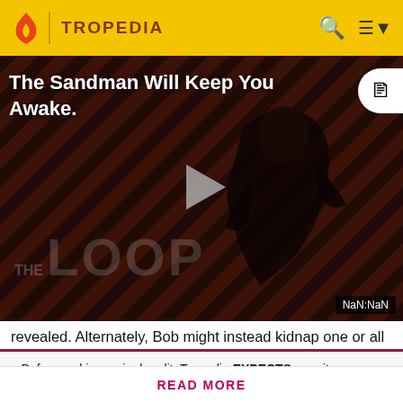TROPEDIA
[Figure (screenshot): Tropedia video player showing 'The Sandman Will Keep You Awake.' with a dark figure in black against a diagonal red and black striped background. THE LOOP watermark visible. Play button in center. Timer shows NaN:NaN.]
revealed. Alternately, Bob might instead kidnap one or all
Before making a single edit, Tropedia EXPECTS our site policy and manual of style to be followed. Failure to do so may
READ MORE